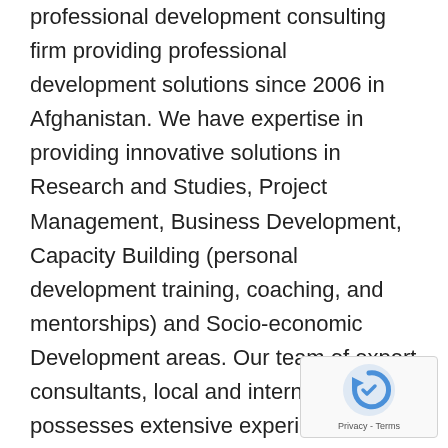professional development consulting firm providing professional development solutions since 2006 in Afghanistan. We have expertise in providing innovative solutions in Research and Studies, Project Management, Business Development, Capacity Building (personal development training, coaching, and mentorships) and Socio-economic Development areas. Our team of expert consultants, local and international possesses extensive experience (15+ years) and highest qualifications (Masters and Ph.D. level) with international certifications (PMP, ACCA, etc). The professional consultants are committed and dedicated to providing highest quality professional services with guaranteed results.
[Figure (logo): reCAPTCHA badge with circular arrow icon and Privacy - Terms text]